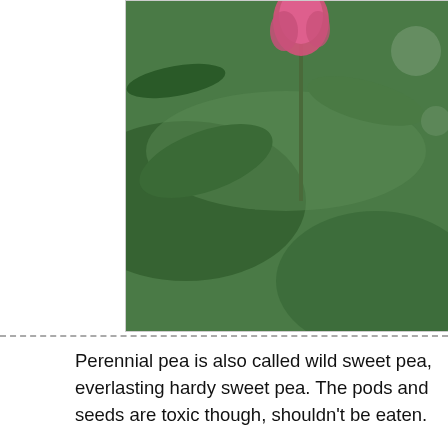[Figure (photo): Close-up photo of perennial pea plant with pink/magenta flower buds against green foliage background]
Perennial pea is also called wild sweet pea, everlasting hardy sweet pea. The pods and seeds are toxic though, shouldn't be eaten.
[Figure (photo): Photo of a spiky white/pale green plant (possibly stinging nettle or similar) growing among dense green foliage with a log visible in the background]